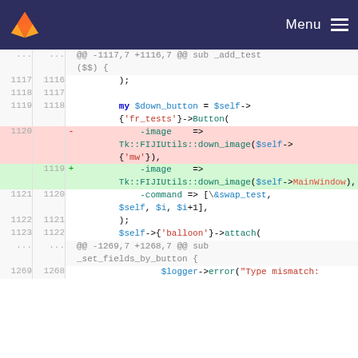GitLab navigation bar with Menu
[Figure (screenshot): GitLab diff view showing code changes in a Perl file around lines 1117-1123 and 1268-1269, with a removed line showing Tk::FIJIUtils::down_image($self->{'mw'}) and an added line showing Tk::FIJIUtils::down_image($self->MainWindow)]